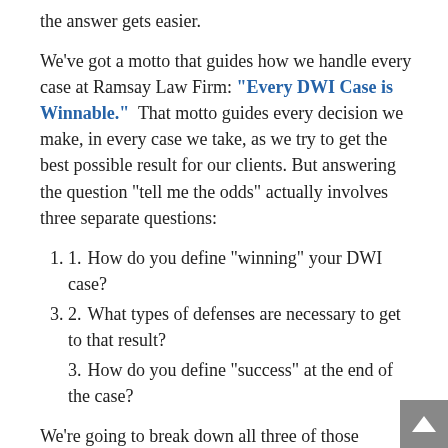the answer gets easier.
We've got a motto that guides how we handle every case at Ramsay Law Firm: "Every DWI Case is Winnable." That motto guides every decision we make, in every case we take, as we try to get the best possible result for our clients. But answering the question "tell me the odds" actually involves three separate questions:
1. How do you define "winning" your DWI case?
2. What types of defenses are necessary to get to that result?
3. How do you define "success" at the end of the case?
We're going to break down all three of those questions in the next three blog posts, trying to simplify a common and complex question. So first -- what does it mean to "win" a DWI case?